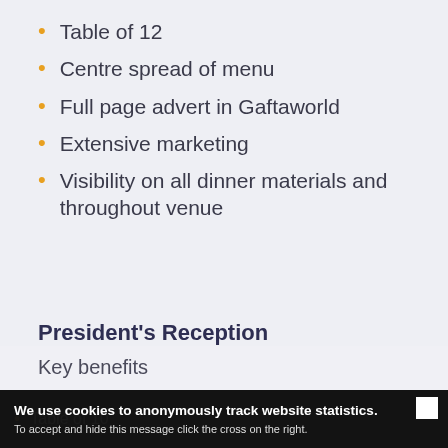Table of 12
Centre spread of menu
Full page advert in Gaftaworld
Extensive marketing
Visibility on all dinner materials and throughout venue
President's Reception
Key benefits
Table of 10
We use cookies to anonymously track website statistics. To accept and hide this message click the cross on the right.